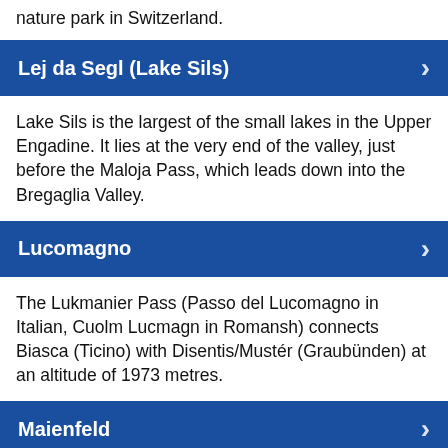nature park in Switzerland.
Lej da Segl (Lake Sils)
Lake Sils is the largest of the small lakes in the Upper Engadine. It lies at the very end of the valley, just before the Maloja Pass, which leads down into the Bregaglia Valley.
Lucomagno
The Lukmanier Pass (Passo del Lucomagno in Italian, Cuolm Lucmagn in Romansh) connects Biasca (Ticino) with Disentis/Mustér (Graubünden) at an altitude of 1973 metres.
Maienfeld
The whole area is nicknamed Heidiland, as Maienfeld